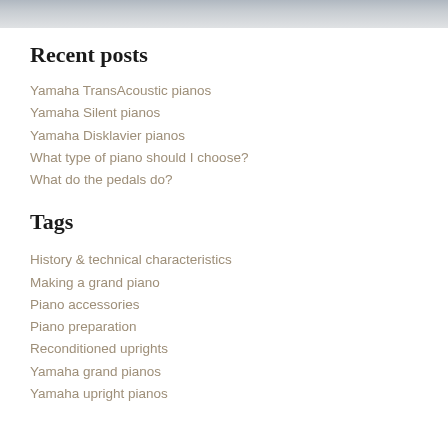[Figure (photo): Partial photo of a piano or piano player, cropped at top of page]
Recent posts
Yamaha TransAcoustic pianos
Yamaha Silent pianos
Yamaha Disklavier pianos
What type of piano should I choose?
What do the pedals do?
Tags
History & technical characteristics
Making a grand piano
Piano accessories
Piano preparation
Reconditioned uprights
Yamaha grand pianos
Yamaha upright pianos